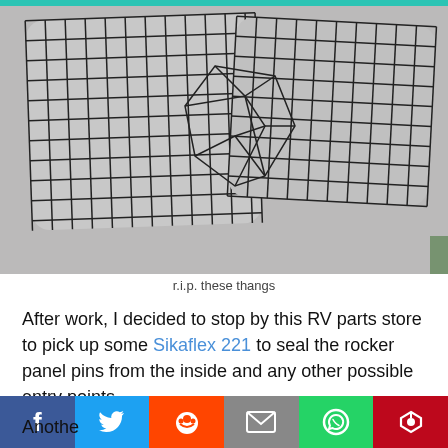[Figure (photo): Photo of two bent/damaged wire grid mesh panels lying on a gray carpet surface]
r.i.p. these thangs
After work, I decided to stop by this RV parts store to pick up some Sikaflex 221 to seal the rocker panel pins from the inside and any other possible entry points.
Anothe